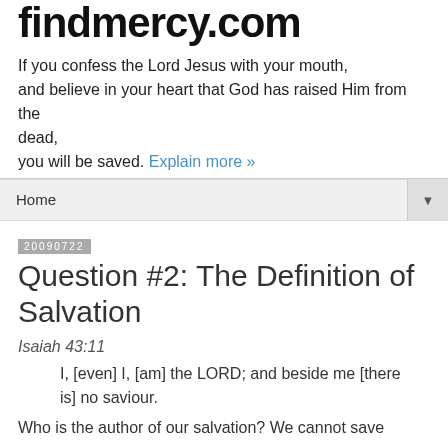findmercy.com
If you confess the Lord Jesus with your mouth, and believe in your heart that God has raised Him from the dead, you will be saved. Explain more »
Home ▼
20090722
Question #2: The Definition of Salvation
Isaiah 43:11
I, [even] I, [am] the LORD; and beside me [there is] no saviour.
Who is the author of our salvation? We cannot save